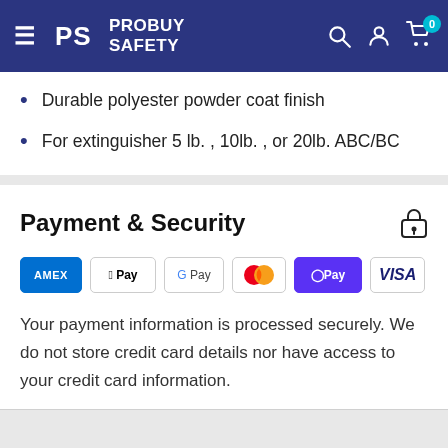ProBuy Safety navigation bar with logo, search, account, and cart icons
Durable polyester powder coat finish
For extinguisher 5 lb. , 10lb. , or 20lb. ABC/BC
Payment & Security
[Figure (logo): Payment method logos: American Express, Apple Pay, Google Pay, Mastercard, Shop Pay, Visa]
Your payment information is processed securely. We do not store credit card details nor have access to your credit card information.